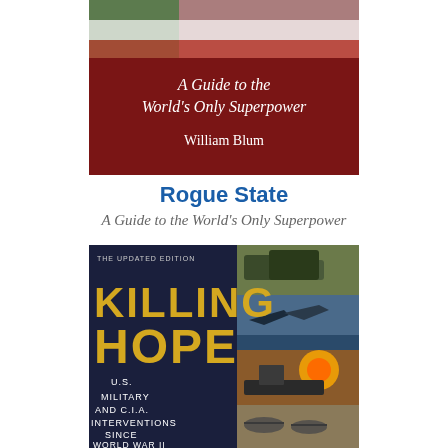[Figure (illustration): Book cover of 'Rogue State: A Guide to the World's Only Superpower' by William Blum. Red and dark background with white text and a partial flag image.]
Rogue State
A Guide to the World's Only Superpower
[Figure (illustration): Book cover of 'Killing Hope: U.S. Military and C.I.A. Interventions Since World War II' - Updated Edition. Dark navy blue left panel with gold/yellow large title text 'KILLING HOPE', white text subtitle. Right panel shows collage of military images: tanks, jets, warship, helicopters, explosion.]